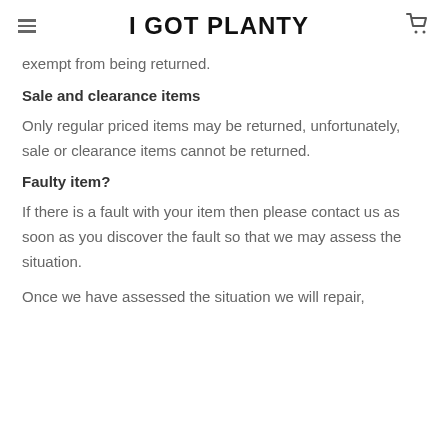I GOT PLANTY
exempt from being returned.
Sale and clearance items
Only regular priced items may be returned, unfortunately, sale or clearance items cannot be returned.
Faulty item?
If there is a fault with your item then please contact us as soon as you discover the fault so that we may assess the situation.
Once we have assessed the situation we will repair,